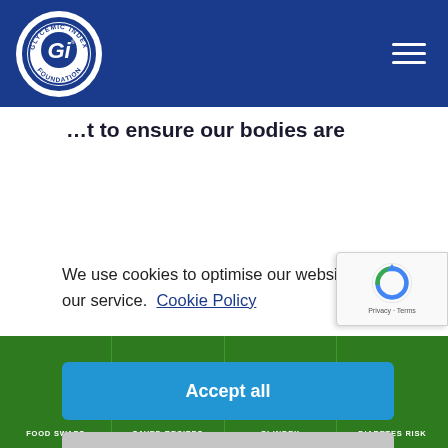Glycemic Index Foundation — navigation header with logo and hamburger menu
…t to ensure our bodies are
We use cookies to optimise our website and our service.  Cookie Policy
Accept all
Functional only
View preferences
FOOD SWAPS   SAVED RECIPES   GI INDEX   DIABETES RISK